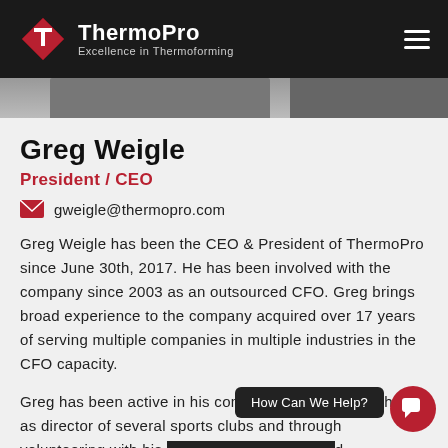ThermoPro — Excellence in Thermoforming
[Figure (photo): Cropped photo strip showing partial image of person(s)]
Greg Weigle
President / CEO
gweigle@thermopro.com
Greg Weigle has been the CEO & President of ThermoPro since June 30th, 2017. He has been involved with the company since 2003 as an outsourced CFO. Greg brings broad experience to the company acquired over 17 years of serving multiple companies in multiple industries in the CFO capacity.
Greg has been active in his community through coaching, as director of several sports clubs and through volunteering with his church. Greg is married and has 4 children.